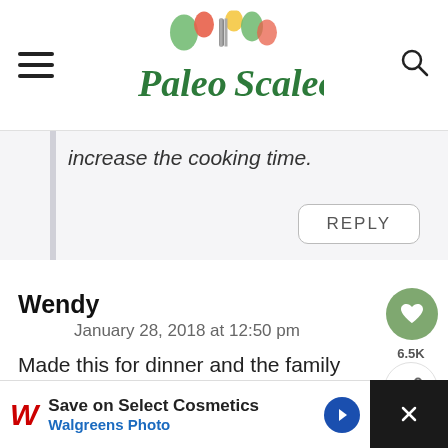Paleo Scaleo (website header with logo, hamburger menu, and search icon)
increase the cooking time.
REPLY
Wendy
January 28, 2018 at 12:50 pm
Made this for dinner and the family loved it I added asparagus and broccoli. Definatly will make it again.
[Figure (logo): Paleo Scaleo website logo with illustrated vegetables and cutlery]
6.5K
WHAT'S NEXT → 30 Minute Instant Pot...
Save on Select Cosmetics Walgreens Photo